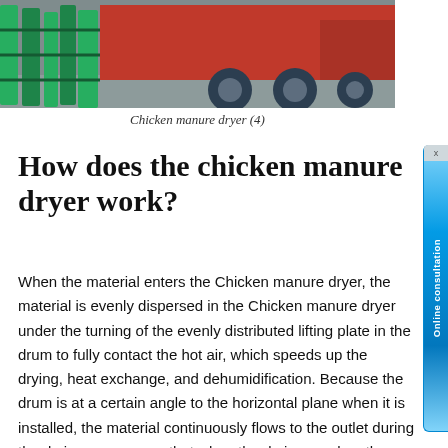[Figure (photo): Photograph of a chicken manure dryer machine loaded on or near a red truck, with green metal frames visible on the left side.]
Chicken manure dryer (4)
How does the chicken manure dryer work?
When the material enters the Chicken manure dryer, the material is evenly dispersed in the Chicken manure dryer under the turning of the evenly distributed lifting plate in the drum to fully contact the hot air, which speeds up the drying, heat exchange, and dehumidification. Because the drum is at a certain angle to the horizontal plane when it is installed, the material continuously flows to the outlet during the drying process, so that when the drying reaches the required